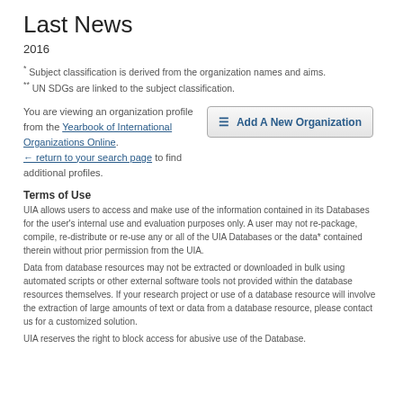Last News
2016
* Subject classification is derived from the organization names and aims.
** UN SDGs are linked to the subject classification.
You are viewing an organization profile from the Yearbook of International Organizations Online. ← return to your search page to find additional profiles.
Terms of Use
UIA allows users to access and make use of the information contained in its Databases for the user's internal use and evaluation purposes only. A user may not re-package, compile, re-distribute or re-use any or all of the UIA Databases or the data* contained therein without prior permission from the UIA.
Data from database resources may not be extracted or downloaded in bulk using automated scripts or other external software tools not provided within the database resources themselves. If your research project or use of a database resource will involve the extraction of large amounts of text or data from a database resource, please contact us for a customized solution.
UIA reserves the right to block access for abusive use of the Database.